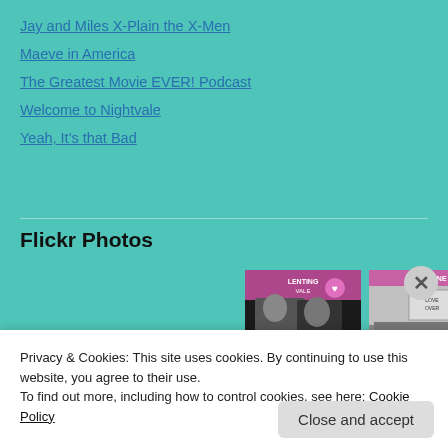Jay and Miles X-Plain the X-Men
Maeve in America
The Greatest Movie EVER! Podcast
Welcome to Nightvale
Yeah, It's that Bad
Flickr Photos
[Figure (photo): Two photos side by side: left shows two people with pink Valentine text overlay reading 'LIFE'S TOO SHORT TO BE WITHOUT YOU', right shows protest scene with pink Valentine text overlay reading 'LET'S MAKE A RUCKUS']
Privacy & Cookies: This site uses cookies. By continuing to use this website, you agree to their use.
To find out more, including how to control cookies, see here: Cookie Policy